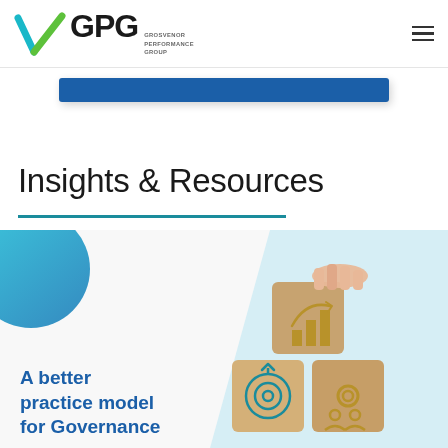GPG Grosvenor Performance Group
[Figure (logo): GPG logo with teal and green checkmark V symbol and text Grosvenor Performance Group]
Insights & Resources
[Figure (illustration): Card image with blue decorative circle top-left, photo of wooden blocks with governance icons (growth chart, target/goal, settings/gears) being stacked by a hand. Text overlay reading 'A better practice model for Governance']